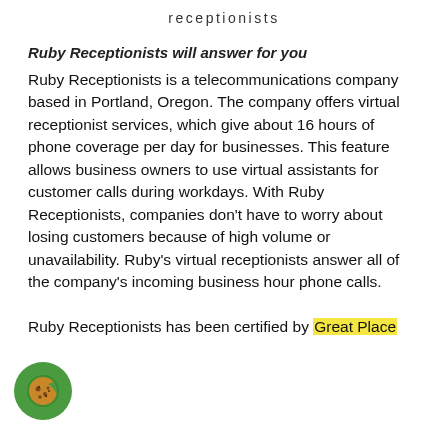receptionists
Ruby Receptionists will answer for you
Ruby Receptionists is a telecommunications company based in Portland, Oregon. The company offers virtual receptionist services, which give about 16 hours of phone coverage per day for businesses. This feature allows business owners to use virtual assistants for customer calls during workdays. With Ruby Receptionists, companies don't have to worry about losing customers because of high volume or unavailability. Ruby's virtual receptionists answer all of the company's incoming business hour phone calls. Ruby Receptionists has been certified by Great Place